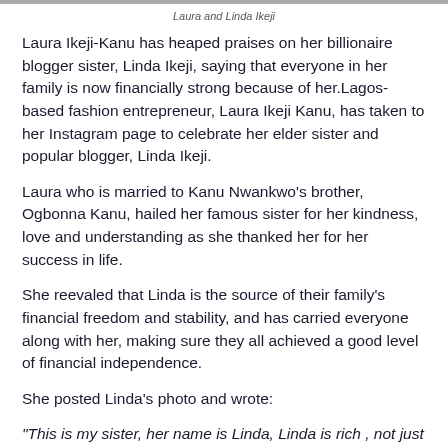[Figure (photo): Top strip showing a photo of Laura and Linda Ikeji (partially visible at top of page)]
Laura and Linda Ikeji
Laura Ikeji-Kanu has heaped praises on her billionaire blogger sister, Linda Ikeji, saying that everyone in her family is now financially strong because of her.Lagos-based fashion entrepreneur, Laura Ikeji Kanu, has taken to her Instagram page to celebrate her elder sister and popular blogger, Linda Ikeji.
Laura who is married to Kanu Nwankwo's brother, Ogbonna Kanu, hailed her famous sister for her kindness, love and understanding as she thanked her for her success in life.
She reevaled that Linda is the source of their family's financial freedom and stability, and has carried everyone along with her, making sure they all achieved a good level of financial independence.
She posted Linda's photo and wrote:
"This is my sister, her name is Linda, Linda is rich , not just money rich, but rich in wisdom, love, beauty and understanding, rich in